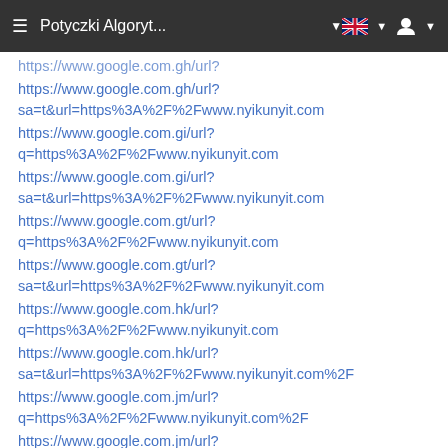≡  Potyczki Algoryt...  ▾  🇬🇧 ▾  👤 ▾
https://www.google.com.gh/url?sa=t&url=https%3A%2F%2Fwww.nyikunyit.com
https://www.google.com.gi/url?q=https%3A%2F%2Fwww.nyikunyit.com
https://www.google.com.gi/url?sa=t&url=https%3A%2F%2Fwww.nyikunyit.com
https://www.google.com.gt/url?q=https%3A%2F%2Fwww.nyikunyit.com
https://www.google.com.gt/url?sa=t&url=https%3A%2F%2Fwww.nyikunyit.com
https://www.google.com.hk/url?q=https%3A%2F%2Fwww.nyikunyit.com
https://www.google.com.hk/url?sa=t&url=https%3A%2F%2Fwww.nyikunyit.com%2F
https://www.google.com.jm/url?q=https%3A%2F%2Fwww.nyikunyit.com%2F
https://www.google.com.jm/url?q=https%3A%2F%2Fwww.nyikunyit.com
https://www.google.com.jm/url?sa=t&url=https%3A%2F%2Fwww.nyikunyit.com